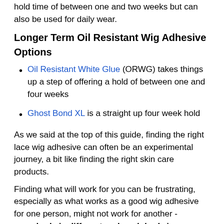hold time of between one and two weeks but can also be used for daily wear.
Longer Term Oil Resistant Wig Adhesive Options
Oil Resistant White Glue (ORWG) takes things up a step of offering a hold of between one and four weeks
Ghost Bond XL is a straight up four week hold
As we said at the top of this guide, finding the right lace wig adhesive can often be an experimental journey, a bit like finding the right skin care products.
Finding what will work for you can be frustrating, especially as what works as a good wig adhesive for one person, might not work for another - everybody is different and each body is different.
It can be trial and error, but the main thing to do is keep trying until you find what works for you in terms of hold time and how your skin responds;
Righto, that should be enough oil resistant lace front wig glue to keep you going and you can always